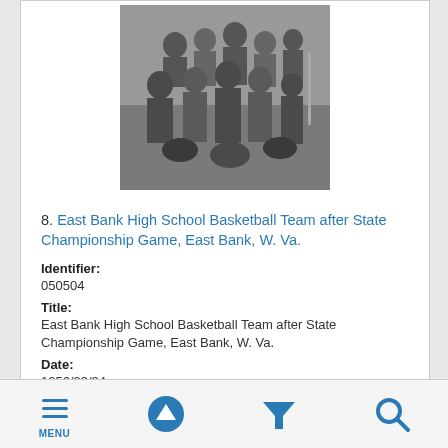[Figure (photo): Black and white photograph of the East Bank High School Basketball Team gathered after the State Championship Game, showing multiple people including young men and adults, apparently outdoors near a brick building.]
8. East Bank High School Basketball Team after State Championship Game, East Bank, W. Va.
Identifier: 050504
Title: East Bank High School Basketball Team after State Championship Game, East Bank, W. Va.
Date: 1956/03/24
MENU  [up arrow]  [filter]  [search]